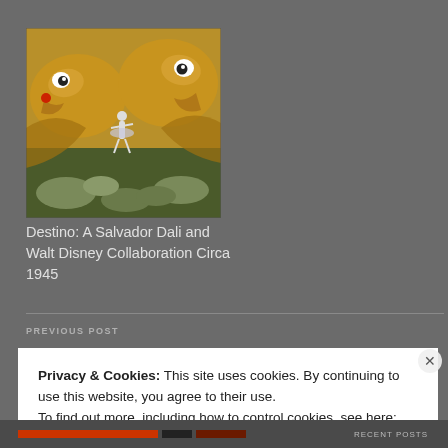[Figure (illustration): Surrealist artwork from Destino, showing fantastical creature-like figures in gold/yellow tones with a small ballet dancer figure]
Destino: A Salvador Dali and Walt Disney Collaboration Circa 1945
PREVIOUS POST
Privacy & Cookies: This site uses cookies. By continuing to use this website, you agree to their use.
To find out more, including how to control cookies, see here: Cookie Policy
Close and accept